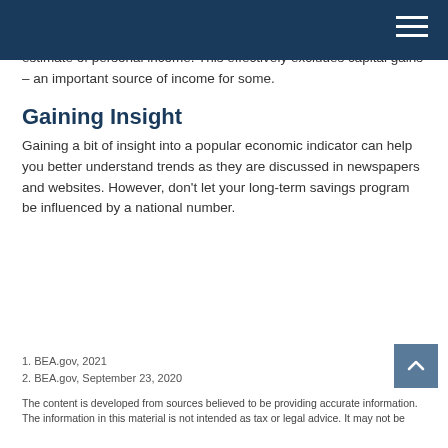As currently structured, the U.S. Personal Saving Rate does not include capital gains from the sale of land or financial assets in its estimate of personal income. This effectively excludes capital gains – an important source of income for some.
Gaining Insight
Gaining a bit of insight into a popular economic indicator can help you better understand trends as they are discussed in newspapers and websites. However, don't let your long-term savings program be influenced by a national number.
1. BEA.gov, 2021
2. BEA.gov, September 23, 2020
The content is developed from sources believed to be providing accurate information. The information in this material is not intended as tax or legal advice. It may not be